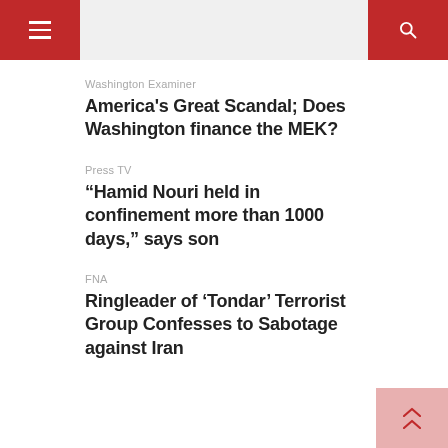≡  [hamburger menu]  [search icon]
Washington Examiner
America's Great Scandal; Does Washington finance the MEK?
Press TV
“Hamid Nouri held in confinement more than 1000 days,” says son
FNA
Ringleader of ‘Tondar’ Terrorist Group Confesses to Sabotage against Iran